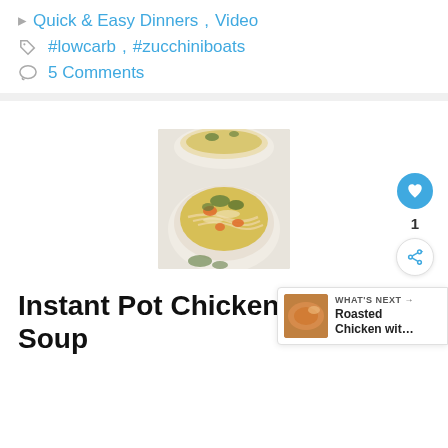Quick & Easy Dinners, Video
#lowcarb, #zucchiniboats
5 Comments
[Figure (photo): Bowl of chicken noodle soup with carrots and herbs in a white speckled ceramic bowl, photographed from above on a marble surface. A second bowl is partially visible at the top.]
Instant Pot Chicken Noodle Soup